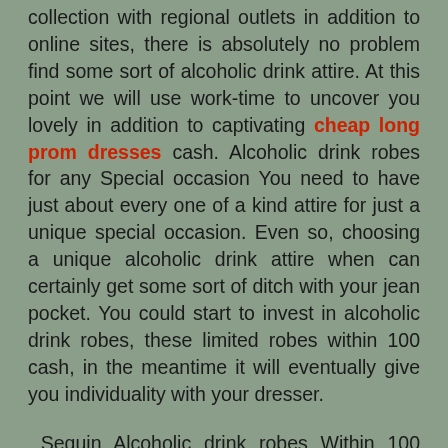collection with regional outlets in addition to online sites, there is absolutely no problem find some sort of alcoholic drink attire. At this point we will use work-time to uncover you lovely in addition to captivating cheap long prom dresses cash. Alcoholic drink robes for any Special occasion You need to have just about every one of a kind attire for just a unique special occasion. Even so, choosing a unique alcoholic drink attire when can certainly get some sort of ditch with your jean pocket. You could start to invest in alcoholic drink robes, these limited robes within 100 cash, in the meantime it will eventually give you individuality with your dresser.
Sequin Alcoholic drink robes Within 100 Cash Sequin alcoholic drink robes usually are tasteful on the subject of this strapless gathering robes. Some sort of puffy bubble semi-circle model sweater is usually clean, specially when it offers many shimmer on there. for anyone who is major with your heart area, search for a lace ribbon and bow with it is area which will carry little brown eyes to your ribbon and bow but is not with your washboard tummy. In case you have full-figure, complete be anxious, since you also can certainly opt